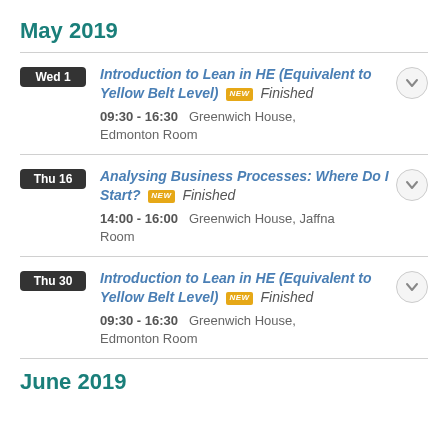May 2019
Wed 1 | Introduction to Lean in HE (Equivalent to Yellow Belt Level) NEW Finished | 09:30 - 16:30 Greenwich House, Edmonton Room
Thu 16 | Analysing Business Processes: Where Do I Start? NEW Finished | 14:00 - 16:00 Greenwich House, Jaffna Room
Thu 30 | Introduction to Lean in HE (Equivalent to Yellow Belt Level) NEW Finished | 09:30 - 16:30 Greenwich House, Edmonton Room
June 2019